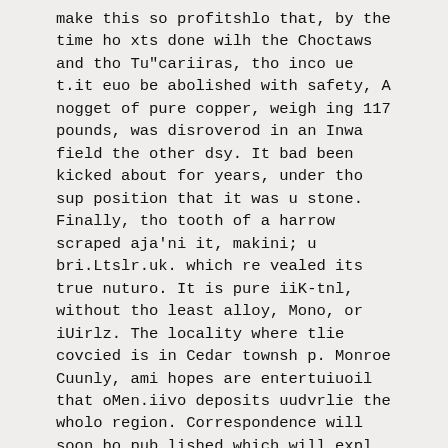make this so profitshlo that, by the time ho xts done wilh the Choctaws and tho Tu"cariiras, tho inco ue t.it euo be abolished with safety, A nogget of pure copper, weigh ing 117 pounds, was disroverod in an Inwa field the other dsy. It bad been kicked about for years, under tho sup position that it was u stone. Finally, tho tooth of a harrow scraped aja'ni it, makini; u bri.Ltslr.uk. which re vealed its true nuturo. It is pure iiK-tnl, without tho least alloy, Mono, or iUirlz. The locality where tlie covcied is in Cedar townsh p. Monroe Cuunly, ami hopes are entertuiuoil that oMen.iivo deposits uudvrlie the wholo region. Correspondence will soon bo pub lished which will expl iiu lho reason why Oou. Iluuooi'k was not appointed to succeed (Jen. Thomas in the com - muutl ol trie Oct art muni ol tho 1'aoiU' The explanation will show that party politics linl no connection with tho